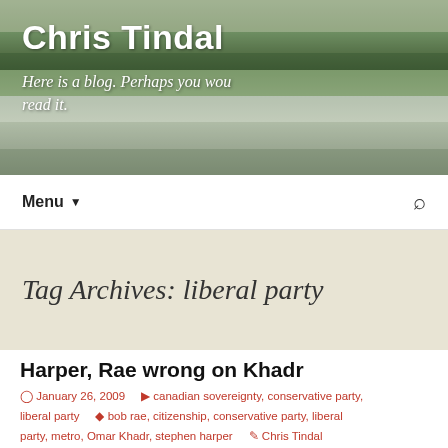Chris Tindal
Here is a blog. Perhaps you would read it.
Menu ▼
Tag Archives: liberal party
Harper, Rae wrong on Khadr
⊙ January 26, 2009   ▶ canadian sovereignty, conservative party, liberal party   ✦ bob rae, citizenship, conservative party, liberal party, metro, Omar Khadr, stephen harper   ✎ Chris Tindal
According to this Toronto immigration lawyer, both